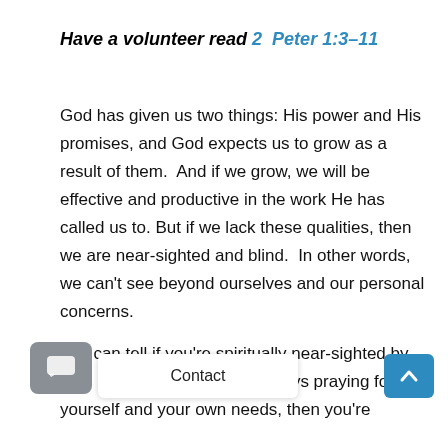Have a volunteer read 2 Peter 1:3–11
God has given us two things: His power and His promises, and God expects us to grow as a result of them.  And if we grow, we will be effective and productive in the work He has called us to. But if we lack these qualities, then we are near-sighted and blind.  In other words, we can't see beyond ourselves and our personal concerns.
You can tell if you're spiritually near-sighted by t  or. If you're always praying fo yourself and your own needs, then you're